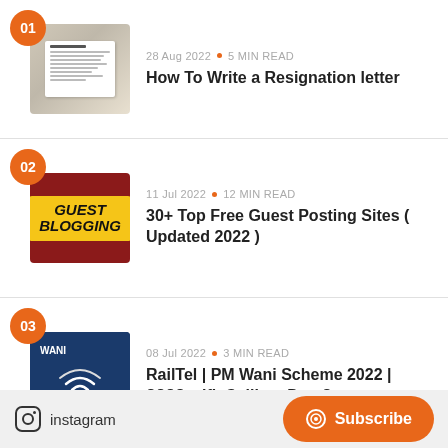01 | 28 Aug 2022 · 5 MIN READ | How To Write a Resignation letter
02 | 11 Jul 2022 · 12 MIN READ | 30+ Top Free Guest Posting Sites ( Updated 2022 )
03 | 08 Jul 2022 · 3 MIN READ | RailTel | PM Wani Scheme 2022 | ???? wifi, Calling, Data?
instagram
Subscribe